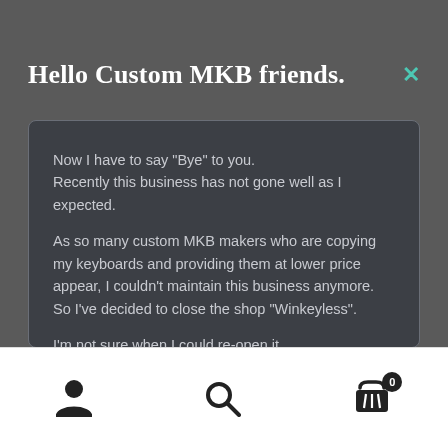Hello Custom MKB friends.
Now I have to say "Bye" to you.
Recently this business has not gone well as I expected.

As so many custom MKB makers who are copying my keyboards and providing them at lower price appear, I couldn't maintain this business anymore.
So I've decided to close the shop "Winkeyless".

I'm not sure when I could re-open it.
To do that, I have to solve a lot of problems
- Finding a way of lowering cost.
- Finding a manufacturer who can supply cases of a good
[Figure (infographic): Bottom navigation bar with user icon, search icon, and shopping cart icon with badge showing 0]